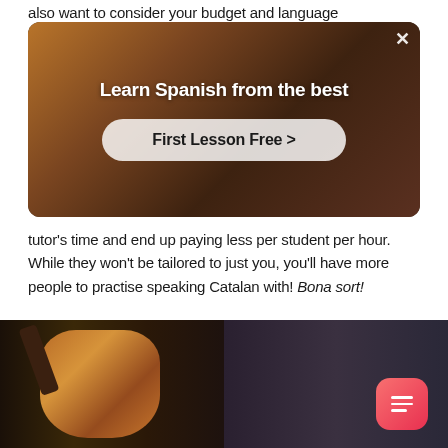also want to consider your budget and language
[Figure (screenshot): Advertisement banner with background photo of a woman in red top. Text reads 'Learn Spanish from the best' with a 'First Lesson Free >' button. Close (X) button in top right corner.]
tutor's time and end up paying less per student per hour. While they won't be tailored to just you, you'll have more people to practise speaking Catalan with! Bona sort!
[Figure (photo): Screenshot of app interface showing two images: left side shows guitar player/guitars, right side shows a smiling woman. A floating action button (hamburger menu icon) is visible in the bottom right.]